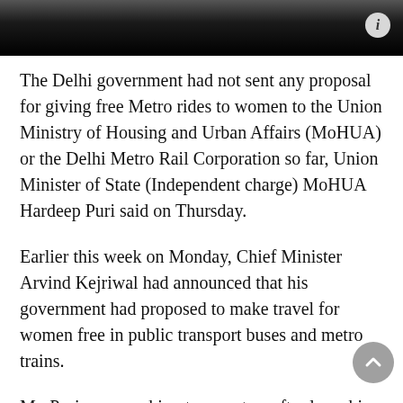The Delhi government had not sent any proposal for giving free Metro rides to women to the Union Ministry of Housing and Urban Affairs (MoHUA) or the Delhi Metro Rail Corporation so far, Union Minister of State (Independent charge) MoHUA Hardeep Puri said on Thursday.
Earlier this week on Monday, Chief Minister Arvind Kejriwal had announced that his government had proposed to make travel for women free in public transport buses and metro trains.
Mr. Puri was speaking to reporters after launching the Minister's initiative and his department's initiative. Scroll...